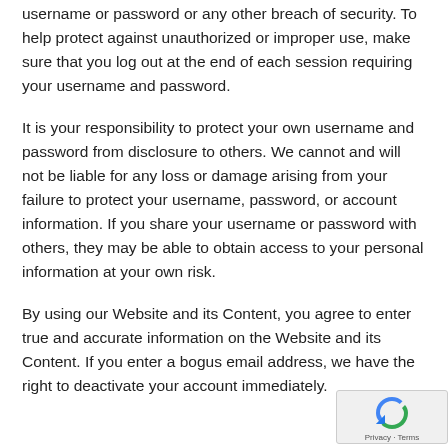username or password or any other breach of security. To help protect against unauthorized or improper use, make sure that you log out at the end of each session requiring your username and password.
It is your responsibility to protect your own username and password from disclosure to others. We cannot and will not be liable for any loss or damage arising from your failure to protect your username, password, or account information. If you share your username or password with others, they may be able to obtain access to your personal information at your own risk.
By using our Website and its Content, you agree to enter true and accurate information on the Website and its Content. If you enter a bogus email address, we have the right to deactivate your account immediately.
[Figure (logo): Google reCAPTCHA badge with recycling arrow icon and Privacy · Terms text]